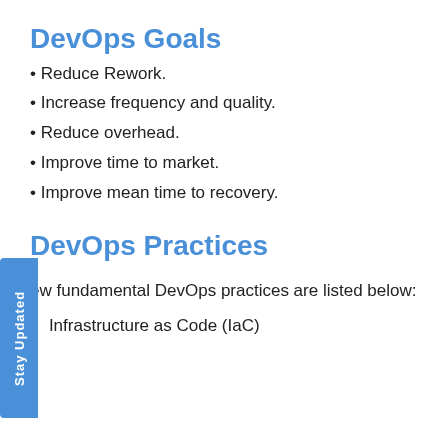DevOps Goals
Reduce Rework.
Increase frequency and quality.
Reduce overhead.
Improve time to market.
Improve mean time to recovery.
DevOps Practices
ew fundamental DevOps practices are listed below:
Infrastructure as Code (IaC)